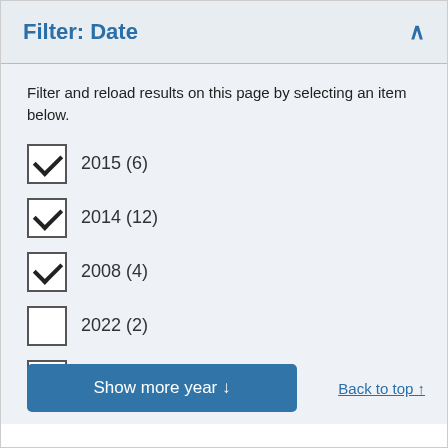Filter: Date
Filter and reload results on this page by selecting an item below.
2015 (6) — checked
2014 (12) — checked
2008 (4) — checked
2022 (2) — unchecked
2021 (2) — unchecked
Show more year ↓
Back to top ↑